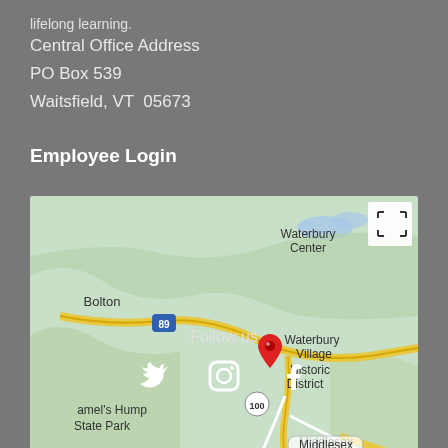lifelong learning.
Central Office Address
PO Box 539
Waitsfield, VT  05673
Employee Login
[Figure (map): Google Map showing Waterbury Village Historic District in Vermont, with nearby locations including Bolton, Waterbury Center, Camel's Hump State Park, and Middlesex. Interstate 89 and Route 100 are visible. A red location pin marks Waterbury Village Historic District.]
Follow us